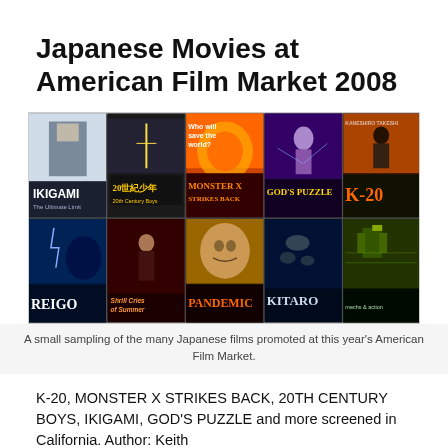Japanese Movies at American Film Market 2008
[Figure (photo): A collage of Japanese film posters including IKIGAMI The Ultimate Limit, 20th Century Boys, Monster X Strikes Back, God's Puzzle, K-20, Reigo, Shrill Cries of Summer, Pandemic, Kitaro, and another film poster.]
A small sampling of the many Japanese films promoted at this year's American Film Market.
K-20, MONSTER X STRIKES BACK, 20TH CENTURY BOYS, IKIGAMI, GOD'S PUZZLE and more screened in California. Author: Keith